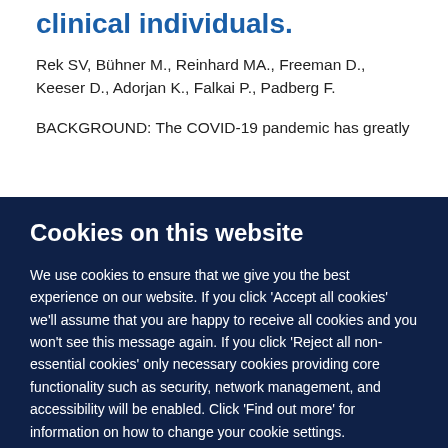clinical individuals.
Rek SV, Bühner M., Reinhard MA., Freeman D., Keeser D., Adorjan K., Falkai P., Padberg F.
BACKGROUND: The COVID-19 pandemic has greatly
Cookies on this website
We use cookies to ensure that we give you the best experience on our website. If you click 'Accept all cookies' we'll assume that you are happy to receive all cookies and you won't see this message again. If you click 'Reject all non-essential cookies' only necessary cookies providing core functionality such as security, network management, and accessibility will be enabled. Click 'Find out more' for information on how to change your cookie settings.
Accept all cookies
Reject all non-essential cookies